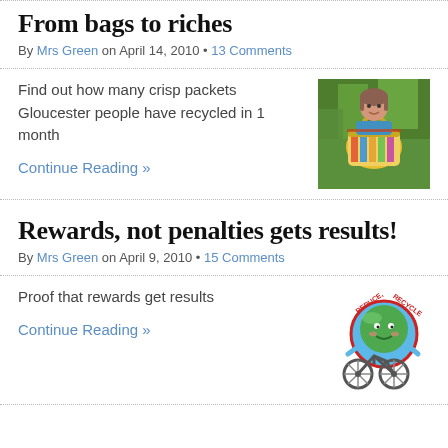From bags to riches
By Mrs Green on April 14, 2010 • 13 Comments
Find out how many crisp packets Gloucester people have recycled in 1 month
Continue Reading »
[Figure (photo): Woman holding colorful woven bag in garden]
Rewards, not penalties gets results!
By Mrs Green on April 9, 2010 • 15 Comments
Proof that rewards get results
Continue Reading »
[Figure (illustration): Reduce, Reuse, Recycle cartoon globe character on bicycle]